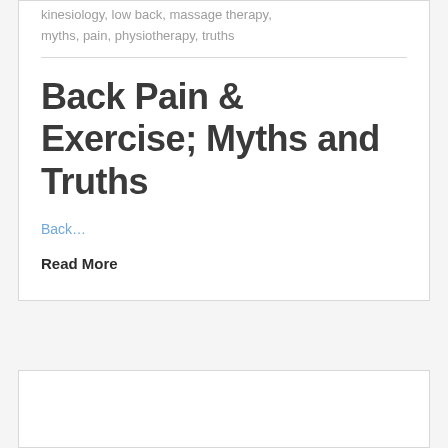kinesiology, low back, massage therapy, myths, pain, physiotherapy, truths
Back Pain & Exercise; Myths and Truths
Back…
Read More